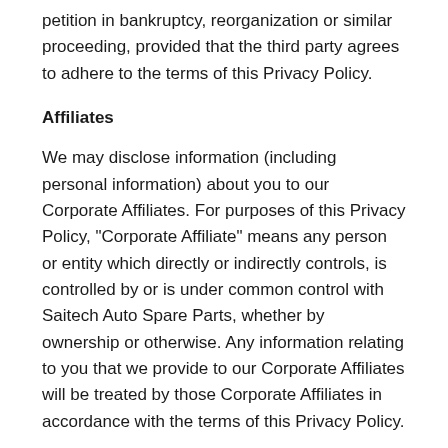petition in bankruptcy, reorganization or similar proceeding, provided that the third party agrees to adhere to the terms of this Privacy Policy.
Affiliates
We may disclose information (including personal information) about you to our Corporate Affiliates. For purposes of this Privacy Policy, "Corporate Affiliate" means any person or entity which directly or indirectly controls, is controlled by or is under common control with Saitech Auto Spare Parts, whether by ownership or otherwise. Any information relating to you that we provide to our Corporate Affiliates will be treated by those Corporate Affiliates in accordance with the terms of this Privacy Policy.
Governing Law